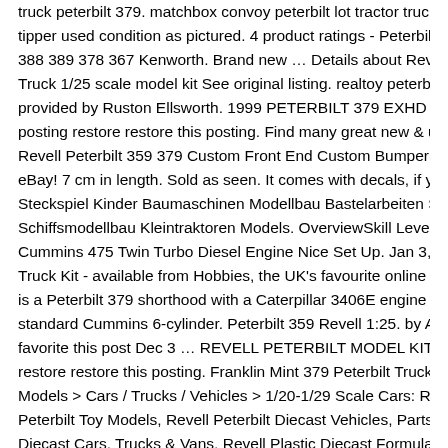truck peterbilt 379. matchbox convoy peterbilt lot tractor trucks hg semi military tipper used condition as pictured. 4 product ratings - Peterbilt 379 single squar 388 389 378 367 Kenworth. Brand new … Details about Revell PETERBILT " C Truck 1/25 scale model kit See original listing. realtoy peterbilt transporter with provided by Ruston Ellsworth. 1999 PETERBILT 379 EXHD $54,900 (nct > Pa posting restore restore this posting. Find many great new & used options and g Revell Peterbilt 359 379 Custom Front End Custom Bumper Fender Chrome # eBay! 7 cm in length. Sold as seen. It comes with decals, if you want to paint y Steckspiel Kinder Baumaschinen Modellbau Bastelarbeiten Spielzeug Lkw Feu Schiffsmodellbau Kleintraktoren Models. OverviewSkill Level: 4 $7.50. Watch: J Cummins 475 Twin Turbo Diesel Engine Nice Set Up. Jan 3, 2014 - Revell Pet Truck Kit - available from Hobbies, the UK's favourite online hobby store! Plasti is a Peterbilt 379 shorthood with a Caterpillar 3406E engine while Revell used standard Cummins 6-cylinder. Peterbilt 359 Revell 1:25. by AnttiS on Pienoism favorite this post Dec 3 … REVELL PETERBILT MODEL KIT $20 (hud > PAWL restore restore this posting. Franklin Mint 379 Peterbilt Truck & Trailer 1/32 Sca Models > Cars / Trucks / Vehicles > 1/20-1/29 Scale Cars: Revell-Germany 1/2 Peterbilt Toy Models, Revell Peterbilt Diecast Vehicles, Parts & Accessories, Re Diecast Cars, Trucks & Vans, Revell Plastic Diecast Formula 1 Cars, 1 25 Mod Revell 1:48 Models, Revell Car Model Kits, Revell Toy Model Kits, Revell … Pe Rc Cars And Trucks Cool Trucks Semi Trucks Kits Modelo Trailers Model Truck